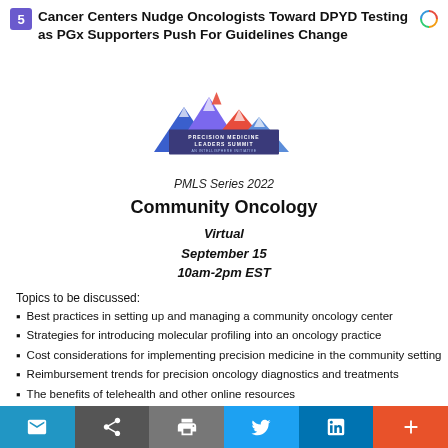Cancer Centers Nudge Oncologists Toward DPYD Testing as PGx Supporters Push For Guidelines Change
[Figure (logo): Precision Medicine Leaders Summit logo with mountain graphic in blue, red, and purple colors]
PMLS Series 2022
Community Oncology
Virtual
September 15
10am-2pm EST
Topics to be discussed:
Best practices in setting up and managing a community oncology center
Strategies for introducing molecular profiling into an oncology practice
Cost considerations for implementing precision medicine in the community setting
Reimbursement trends for precision oncology diagnostics and treatments
The benefits of telehealth and other online resources
Email | Share | Print | Twitter | LinkedIn | More